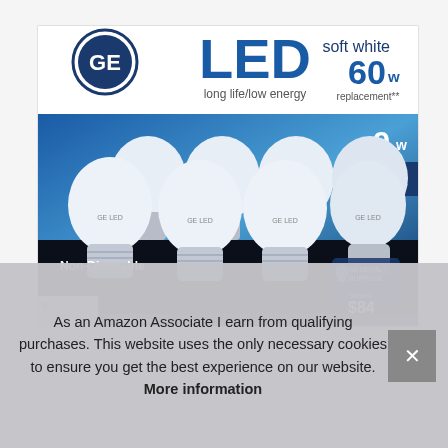[Figure (photo): GE LED soft white light bulb product package. 8-pack box showing 8 LED bulbs (9W, 60W replacement, non-dimmable, soft white, general purpose). Box reads: LED, long life/low energy, soft white, 60w replacement, 9w, 8 PACK, Non-Dimmable, General Purpose, saves $84 on energy per bulb, lasts 13 years.]
As an Amazon Associate I earn from qualifying purchases. This website uses the only necessary cookies to ensure you get the best experience on our website. More information